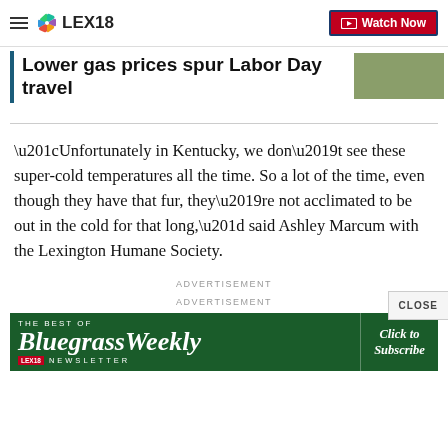LEX18 — Watch Now
Lower gas prices spur Labor Day travel
“Unfortunately in Kentucky, we don’t see these super-cold temperatures all the time. So a lot of the time, even though they have that fur, they’re not acclimated to be out in the cold for that long,” said Ashley Marcum with the Lexington Humane Society.
ADVERTISEMENT
ADVERTISEMENT
[Figure (screenshot): Bluegrass Weekly newsletter advertisement banner: 'The Best Of BluegrassWeekly Click to Subscribe NEWSLETTER' on dark green background with LEX18 logo]